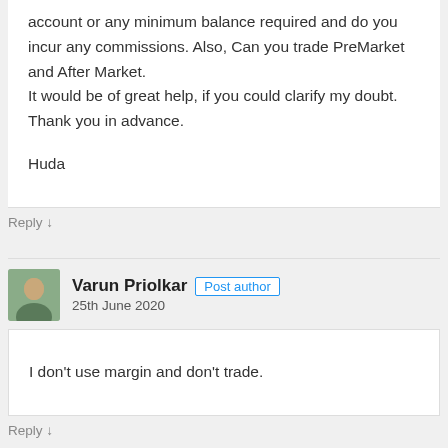account or any minimum balance required and do you incur any commissions. Also, Can you trade PreMarket and After Market.
It would be of great help, if you could clarify my doubt. Thank you in advance.

Huda
Reply ↓
Varun Priolkar  Post author
25th June 2020
I don't use margin and don't trade.
Reply ↓